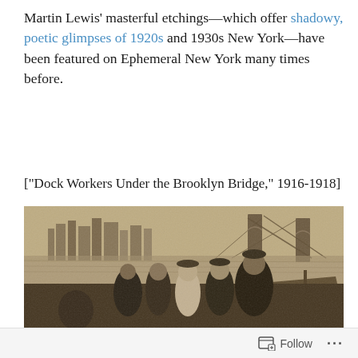Martin Lewis' masterful etchings—which offer shadowy, poetic glimpses of 1920s and 1930s New York—have been featured on Ephemeral New York many times before.
["Dock Workers Under the Brooklyn Bridge," 1916-1918]
[Figure (illustration): Sepia-toned etching titled 'Dock Workers Under the Brooklyn Bridge' (1916-1918) by Martin Lewis. Shows a group of male dock workers in the foreground near a dock, with the Brooklyn Bridge and New York City skyline visible in the background across the water.]
Follow ···